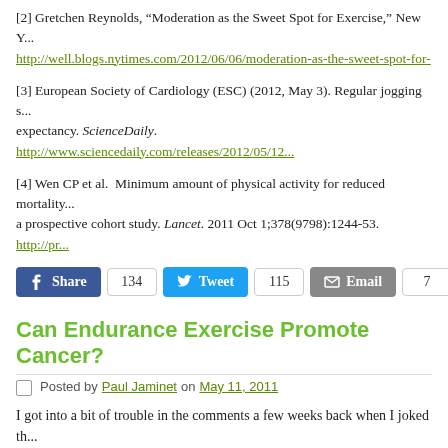[2] Gretchen Reynolds, “Moderation as the Sweet Spot for Exercise,” New Y... http://well.blogs.nytimes.com/2012/06/06/moderation-as-the-sweet-spot-for-
[3] European Society of Cardiology (ESC) (2012, May 3). Regular jogging s... expectancy. ScienceDaily. http://www.sciencedaily.com/releases/2012/05/12...
[4] Wen CP et al.  Minimum amount of physical activity for reduced mortality... a prospective cohort study. Lancet. 2011 Oct 1;378(9798):1244-53. http://pr...
[Figure (infographic): Social sharing buttons: Facebook Share 134, Twitter Tweet 115, Email 7, Share 2372]
Can Endurance Exercise Promote Cancer?
Posted by Paul Jaminet on May 11, 2011
I got into a bit of trouble in the comments a few weeks back when I joked th... from marathoning. Steve replied:
Paul, you said “… marathoning (from which Grete Waitz just died at 57)”
Gee. The news said cancer. How confident are you that she died “from” ru...